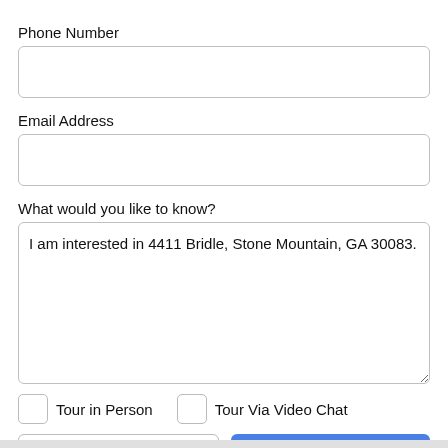Phone Number
Email Address
What would you like to know?
I am interested in 4411 Bridle, Stone Mountain, GA 30083.
Tour in Person
Tour Via Video Chat
Take a Tour
Ask A Question